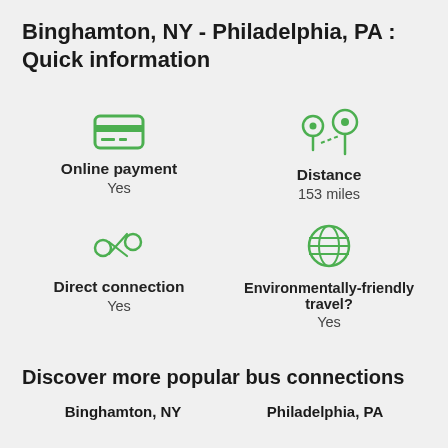Binghamton, NY - Philadelphia, PA : Quick information
[Figure (infographic): Four info cells with icons: Online payment (Yes), Distance (153 miles), Direct connection (Yes), Environmentally-friendly travel? (Yes)]
Discover more popular bus connections
Binghamton, NY | Philadelphia, PA